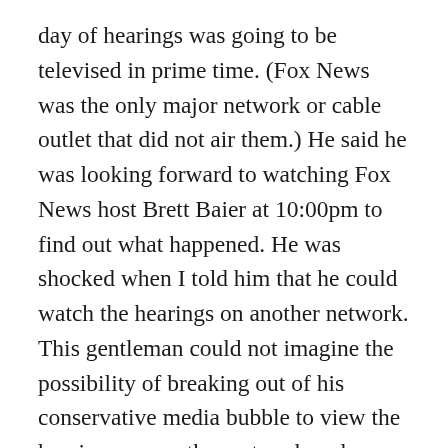day of hearings was going to be televised in prime time. (Fox News was the only major network or cable outlet that did not air them.) He said he was looking forward to watching Fox News host Brett Baier at 10:00pm to find out what happened. He was shocked when I told him that he could watch the hearings on another network. This gentleman could not imagine the possibility of breaking out of his conservative media bubble to view the hearings on another network and making up his own mind about what he saw and heard.
But at least this man was taking the hearings seriously. I am sure that many Trump supporters refused to watch. Historian and cultural critic Tom Nichols tweeted during the first night of hearings: